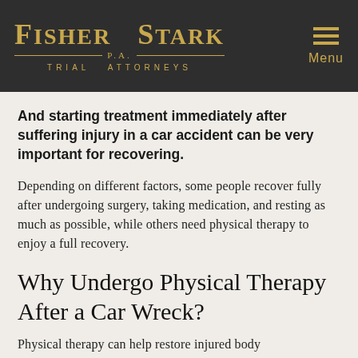[Figure (logo): Fisher Stark P.A. Trial Attorneys logo with gold text on dark background, with hamburger menu icon and Menu label on the right]
And starting treatment immediately after suffering injury in a car accident can be very important for recovering.
Depending on different factors, some people recover fully after undergoing surgery, taking medication, and resting as much as possible, while others need physical therapy to enjoy a full recovery.
Why Undergo Physical Therapy After a Car Wreck?
Physical therapy can help restore injured body